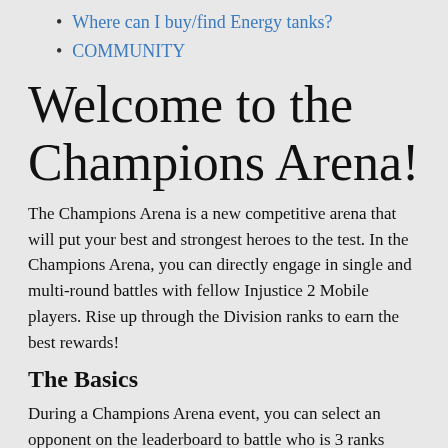Where can I buy/find Energy tanks?
COMMUNITY
Welcome to the Champions Arena!
The Champions Arena is a new competitive arena that will put your best and strongest heroes to the test. In the Champions Arena, you can directly engage in single and multi-round battles with fellow Injustice 2 Mobile players. Rise up through the Division ranks to earn the best rewards!
The Basics
During a Champions Arena event, you can select an opponent on the leaderboard to battle who is 3 ranks above or below you. Defeating an opponent will reward you Season Points on the event